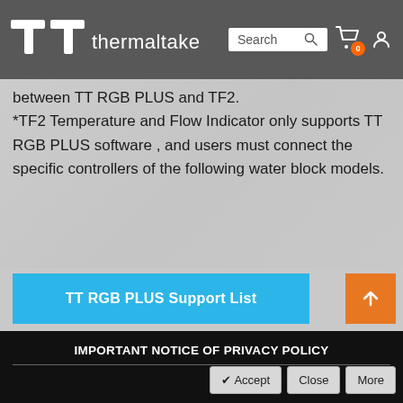thermaltake
between TT RGB PLUS and TF2.
*TF2 Temperature and Flow Indicator only supports TT RGB PLUS software , and users must connect the specific controllers of the following water block models.
[Figure (screenshot): Blue button labeled TT RGB PLUS Support List with orange up-arrow button to the right]
[Figure (logo): Thermaltake RGB PLUS circular logo with rainbow RGB text and a software screenshot partially behind it]
IMPORTANT NOTICE OF PRIVACY POLICY
[Figure (screenshot): Three buttons: checkmark Accept, Close, More]